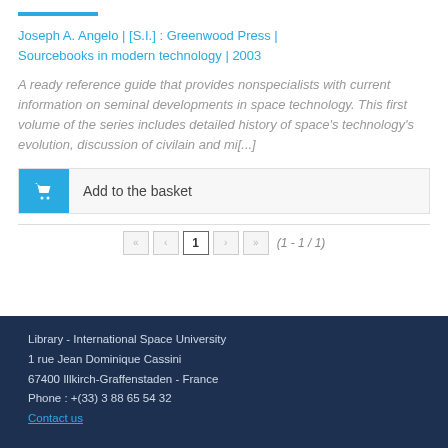Joseph A. Angelo | [S.I.] : Greenwood Press | Sourcebooks in modern technology | 2003
A ready reference guide that provides nonspecialists with current information on seminal developments in space technology. This first volume of the series includes detailed history of space's technology's evolution, discussion of civilain and mi[...]
Add to the basket
1  (1 - 1 / 1)
Library - International Space University
1 rue Jean Dominique Cassini
67400 Illkirch-Graffenstaden - France
Phone : +(33) 3 88 65 54 32
Contact us